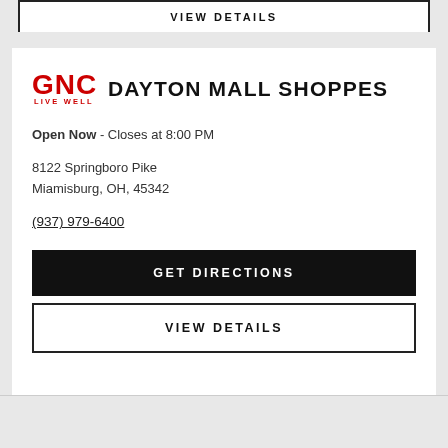VIEW DETAILS
[Figure (logo): GNC Live Well logo in red]
DAYTON MALL SHOPPES
Open Now - Closes at 8:00 PM
8122 Springboro Pike
Miamisburg, OH, 45342
(937) 979-6400
GET DIRECTIONS
VIEW DETAILS